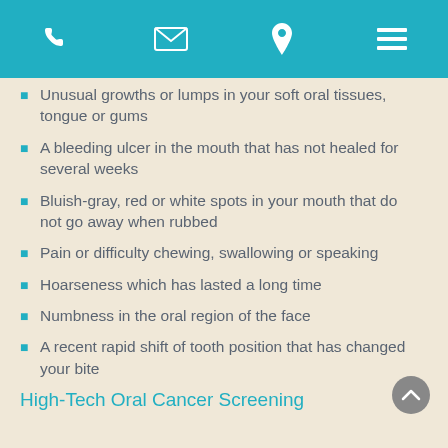Navigation header bar with phone, email, location, and menu icons
Unusual growths or lumps in your soft oral tissues, tongue or gums
A bleeding ulcer in the mouth that has not healed for several weeks
Bluish-gray, red or white spots in your mouth that do not go away when rubbed
Pain or difficulty chewing, swallowing or speaking
Hoarseness which has lasted a long time
Numbness in the oral region of the face
A recent rapid shift of tooth position that has changed your bite
High-Tech Oral Cancer Screening